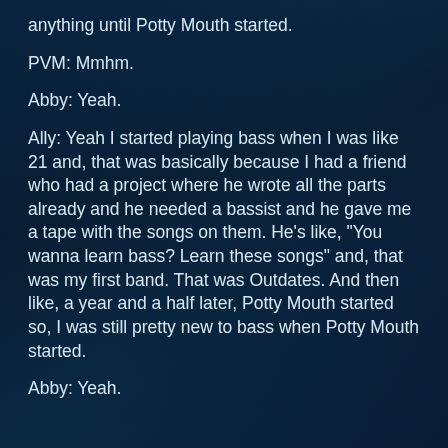anything until Potty Mouth started.
PVM: Mmhm.
Abby: Yeah.
Ally: Yeah I started playing bass when I was like 21 and, that was basically because I had a friend who had a project where he wrote all the parts already and he needed a bassist and he gave me a tape with the songs on them. He’s like, “You wanna learn bass? Learn these songs” and, that was my first band. That was Outdates. And then like, a year and a half later, Potty Mouth started so, I was still pretty new to bass when Potty Mouth started.
Abby: Yeah.